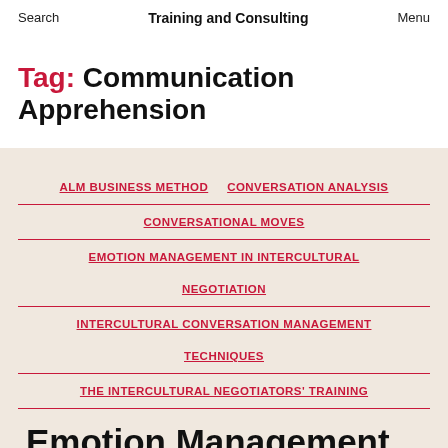Search    Training and Consulting    Menu
Tag: Communication Apprehension
ALM BUSINESS METHOD
CONVERSATION ANALYSIS
CONVERSATIONAL MOVES
EMOTION MANAGEMENT IN INTERCULTURAL NEGOTIATION
INTERCULTURAL CONVERSATION MANAGEMENT TECHNIQUES
THE INTERCULTURAL NEGOTIATORS' TRAINING
Emotion Management in Intercultural Negotiation (Part 2)